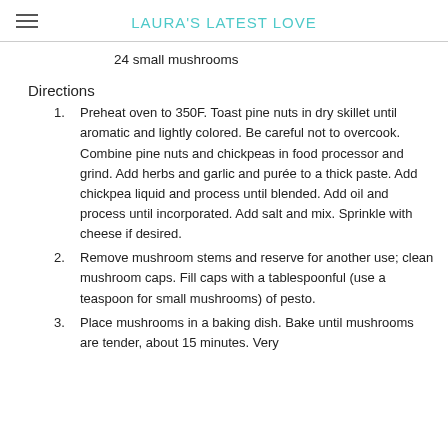LAURA'S LATEST LOVE
24 small mushrooms
Directions
1. Preheat oven to 350F. Toast pine nuts in dry skillet until aromatic and lightly colored. Be careful not to overcook. Combine pine nuts and chickpeas in food processor and grind. Add herbs and garlic and purée to a thick paste. Add chickpea liquid and process until blended. Add oil and process until incorporated. Add salt and mix. Sprinkle with cheese if desired.
2. Remove mushroom stems and reserve for another use; clean mushroom caps. Fill caps with a tablespoonful (use a teaspoon for small mushrooms) of pesto.
3. Place mushrooms in a baking dish. Bake until mushrooms are tender, about 15 minutes. Very